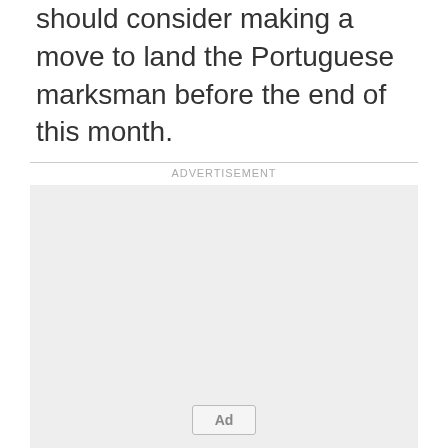should consider making a move to land the Portuguese marksman before the end of this month.
ADVERTISEMENT
[Figure (other): Advertisement placeholder box with light gray background and an 'Ad' button label at the bottom center.]